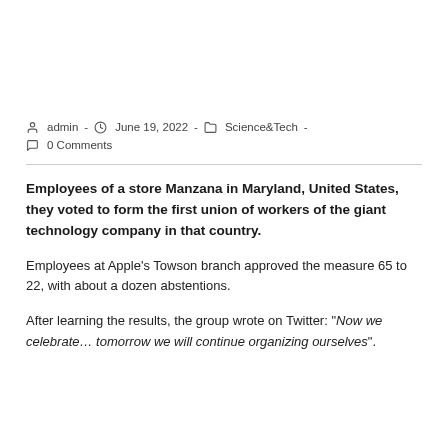admin  -  June 19, 2022  -  Science&Tech  -  0 Comments
Employees of a store Manzana in Maryland, United States, they voted to form the first union of workers of the giant technology company in that country.
Employees at Apple's Towson branch approved the measure 65 to 22, with about a dozen abstentions.
After learning the results, the group wrote on Twitter: "Now we celebrate… tomorrow we will continue organizing ourselves".